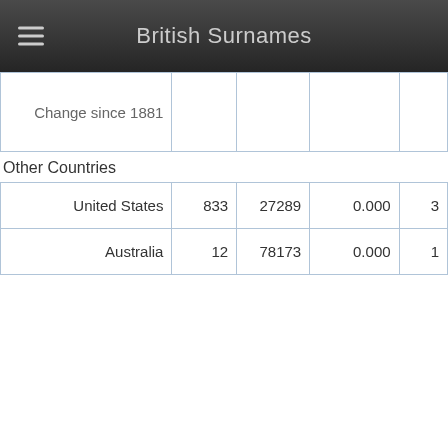British Surnames
|  |  |  |  |  |
| --- | --- | --- | --- | --- |
| Change since 1881 |  |  |  |  |
Other Countries
| United States | 833 | 27289 | 0.000 | 3 |
| Australia | 12 | 78173 | 0.000 | 1 |